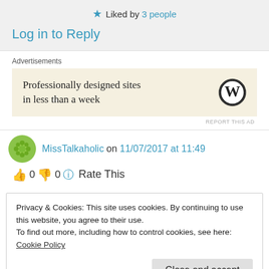★ Liked by 3 people
Log in to Reply
Advertisements
[Figure (screenshot): WordPress advertisement: 'Professionally designed sites in less than a week' with WordPress logo]
REPORT THIS AD
MissTalkaholic on 11/07/2017 at 11:49
👍 0 👎 0 ℹ Rate This
Privacy & Cookies: This site uses cookies. By continuing to use this website, you agree to their use.
To find out more, including how to control cookies, see here: Cookie Policy
Close and accept